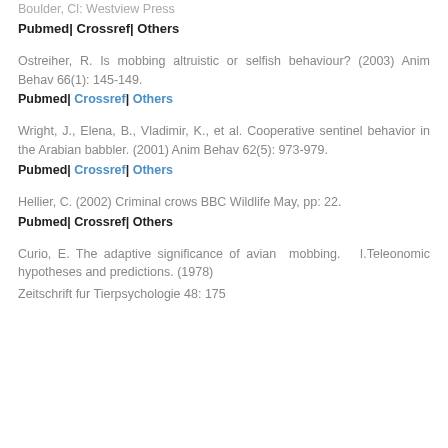Boulder, Cl: Westview Press
Pubmed| Crossref| Others
Ostreiher, R. Is mobbing altruistic or selfish behaviour? (2003) Anim Behav 66(1): 145-149.
Pubmed| Crossref| Others
Wright, J., Elena, B., Vladimir, K., et al. Cooperative sentinel behavior in the Arabian babbler. (2001) Anim Behav 62(5): 973-979.
Pubmed| Crossref| Others
Hellier, C. (2002) Criminal crows BBC Wildlife May, pp: 22.
Pubmed| Crossref| Others
Curio, E. The adaptive significance of avian mobbing. I.Teleonomic hypotheses and predictions. (1978) Zeitschrift fur Tierpsychologie 48: 175